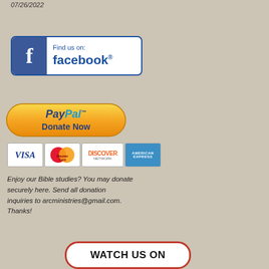07/26/2022
[Figure (logo): Find us on Facebook button with blue Facebook logo icon and text 'Find us on: facebook.']
[Figure (logo): PayPal Donate Now button with gold/orange gradient pill shape and PayPal logo in blue and dark blue text]
[Figure (logo): Payment card icons: VISA, MasterCard, Discover, American Express]
Enjoy our Bible studies? You may donate securely here. Send all donation inquiries to arcministries@gmail.com. Thanks!
[Figure (logo): Watch us on button with red rounded border outline]